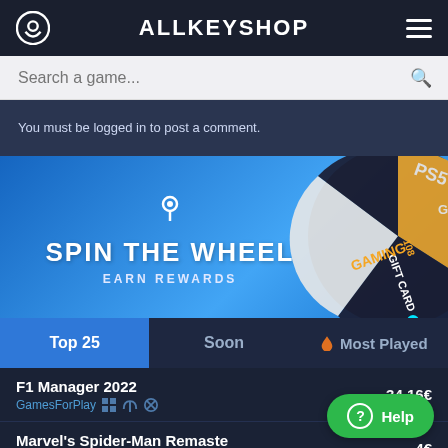ALLKEYSHOP
Search a game...
You must be logged in to post a comment.
[Figure (illustration): Allkeyshop promotional banner: 'SPIN THE WHEEL - EARN REWARDS' with a PS5 gift card wheel on a blue background]
Top 25  Soon  Most Played
F1 Manager 2022
GamesForPlay  34.16€
Marvel's Spider-Man Remaste...
HRK  ...4€
? Help